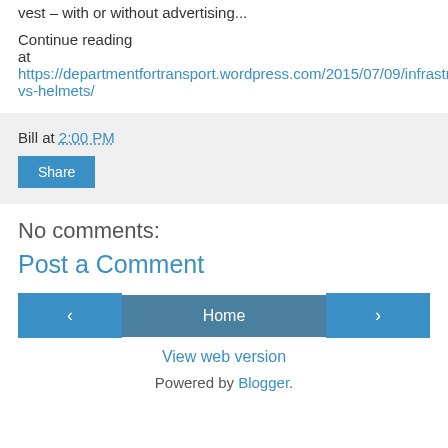vest – with or without advertising...
Continue reading at https://departmentfortransport.wordpress.com/2015/07/09/infrastructure-vs-helmets/
Bill at 2:00 PM
Share
No comments:
Post a Comment
‹
Home
›
View web version
Powered by Blogger.